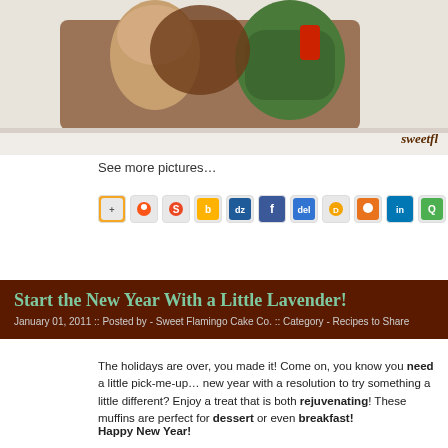[Figure (photo): Partial view of a decorated cake with animal/character figurines in green, brown, and tan colors. Watermark reads 'sweetfl' in bottom right corner.]
See more pictures…
[Figure (infographic): Row of social sharing icons including various social media platforms: AddThis, Reddit, StumbleUpon, Bebo, Digg, Facebook, Delicious, Diigo, Skype, LinkedIn, Quora, Twitter, Google+]
Start the New Year With a Little Lavender!
January 01, 2011 :: Posted by - Sweet Flamingo Cake Co. :: Category - Recipes to Share
The holidays are over, you made it! Come on, you know you need a little pick-me-up… new year with a resolution to try something a little different? Enjoy a treat that is both rejuvenating!  These muffins are perfect for dessert or even breakfast!
Happy New Year!